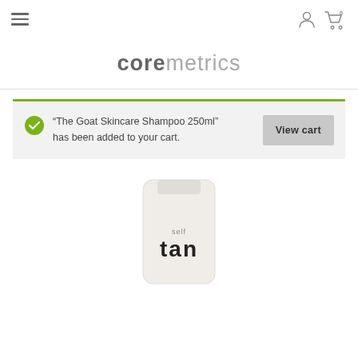coremetrics — navigation header with hamburger menu and user/cart icons
coremetrics
“The Goat Skincare Shampoo 250ml” has been added to your cart.
[Figure (screenshot): Product image showing bottom portion of a tube labeled 'self tan']